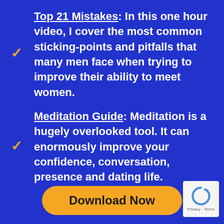Top 21 Mistakes: In this one hour video, I cover the most common sticking-points and pitfalls that many men face when trying to improve their ability to meet women.
Meditation Guide: Meditation is a hugely overlooked tool. It can enormously improve your confidence, conversation, presence and dating life.
Download Now